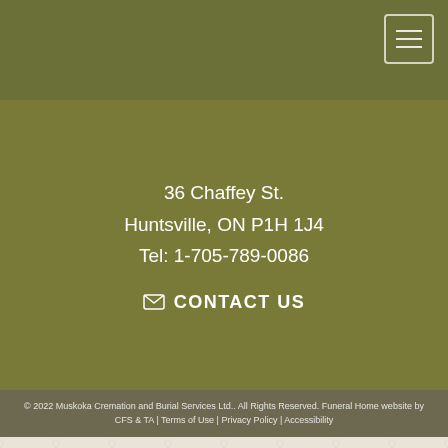[Figure (other): Dark olive green header navigation bar with hamburger menu icon (three horizontal lines) in top-right corner inside a rounded rectangle border]
36 Chaffey St.
Huntsville, ON P1H 1J4
Tel: 1-705-789-0086
✉ CONTACT US
© 2022 Muskoka Cremation and Burial Services Ltd.. All Rights Reserved. Funeral Home website by CFS & TA | Terms of Use | Privacy Policy | Accessibility
[Figure (illustration): Decorative damask/scrollwork repeating pattern on light cream/beige background covering the lower portion of the page]